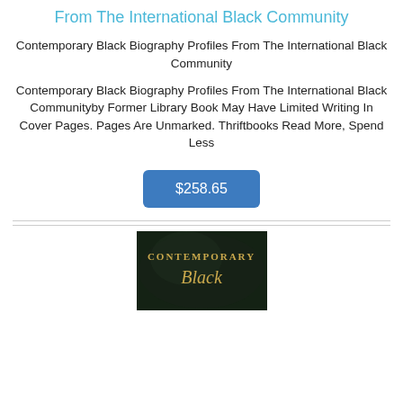From The International Black Community
Contemporary Black Biography Profiles From The International Black Community
Contemporary Black Biography Profiles From The International Black Communityby Former Library Book May Have Limited Writing In Cover Pages. Pages Are Unmarked. Thriftbooks Read More, Spend Less
$258.65
[Figure (photo): Book cover for Contemporary Black biography, dark background with gold and script text reading CONTEMPORARY Black]